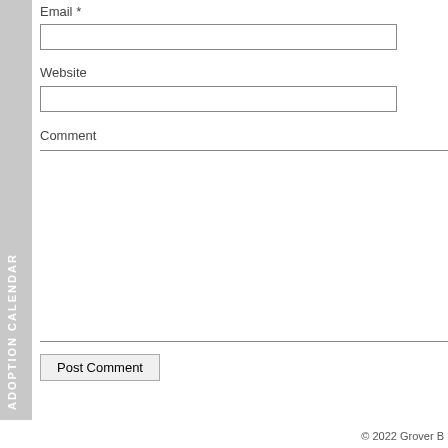[Figure (other): Vertical sidebar with gray background showing text 'ADOPTION CALENDAR' written vertically in white bold letters]
Email *
[Figure (other): Empty text input field for email]
Website
[Figure (other): Empty text input field for website]
Comment
[Figure (other): Empty large textarea for comment]
Post Comment
© 2022 Grover B